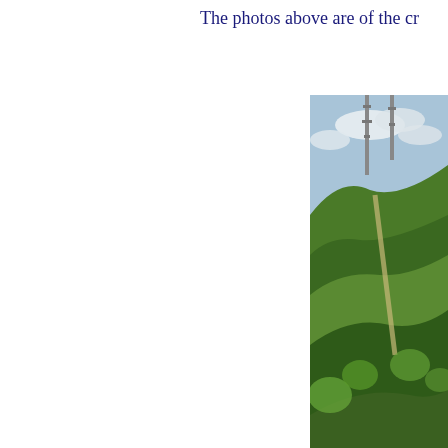The photos above are of the cr
[Figure (photo): Photograph of a green hillside with communication towers visible at the top, taken on a partly cloudy day. A path leads up the hill through dense vegetation.]
Here you see the the 146.730 ar from the
[Figure (photo): Partial photograph of a scene with trees visible, partially cropped at the right edge of the page.]